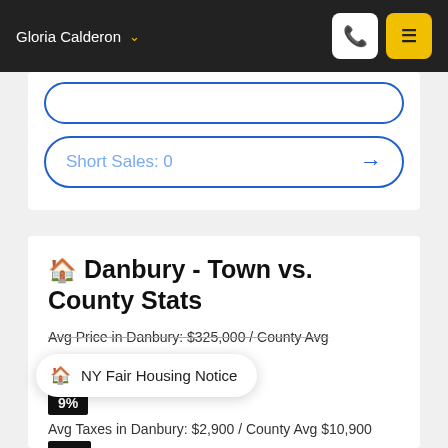Gloria Calderon
Short Sales: 0
Danbury - Town vs. County Stats
Avg Price in Danbury: $325,000 / County Avg
NY Fair Housing Notice
9%
Avg Taxes in Danbury: $2,900 / County Avg $10,900